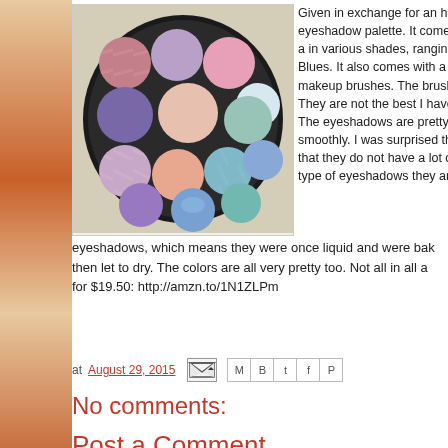[Figure (photo): Circular eyeshadow palette with 15 colorful baked eyeshadow pans in various shades including purples, pinks, blues, greens, and neutrals, in a black round case, photographed on a light wooden surface.]
Given in exchange for an hon eyeshadow palette. It comes a in various shades, ranging f Blues. It also comes with a ni makeup brushes. The brushe They are not the best I have e The eyeshadows are pretty p smoothly. I was surprised the that they do not have a lot of type of eyeshadows they are. eyeshadows, which means they were once liquid and were bak then let to dry. The colors are all very pretty too. Not all in all a for $19.50: http://amzn.to/1N1ZLPm
at August 29, 2015
No comments:
Post a Comment